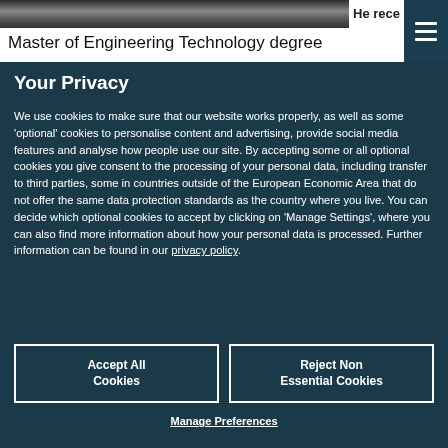[Figure (photo): Partial view of a person photo strip at the top of the page, partially visible behind the cookie consent overlay]
He rece
Master of Engineering Technology degree
Your Privacy
We use cookies to make sure that our website works properly, as well as some 'optional' cookies to personalise content and advertising, provide social media features and analyse how people use our site. By accepting some or all optional cookies you give consent to the processing of your personal data, including transfer to third parties, some in countries outside of the European Economic Area that do not offer the same data protection standards as the country where you live. You can decide which optional cookies to accept by clicking on 'Manage Settings', where you can also find more information about how your personal data is processed. Further information can be found in our privacy policy.
Accept All Cookies
Reject Non Essential Cookies
Manage Preferences